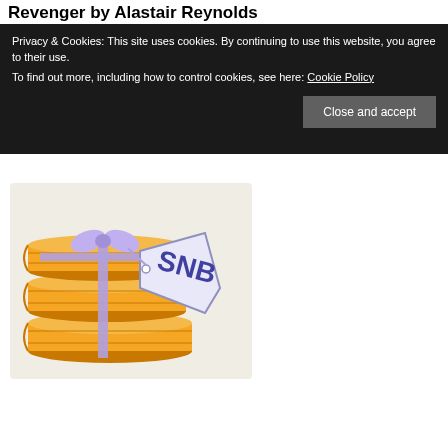Revenger by Alastair Reynolds
Privacy & Cookies: This site uses cookies. By continuing to use this website, you agree to their use.
To find out more, including how to control cookies, see here: Cookie Policy
[Figure (illustration): Stack of orange/golden books tied with a purple ribbon and bow, with a white tag reading 'SNB' in large purple bold letters. Logo/illustration for SNB (Some Novel Blog or similar).]